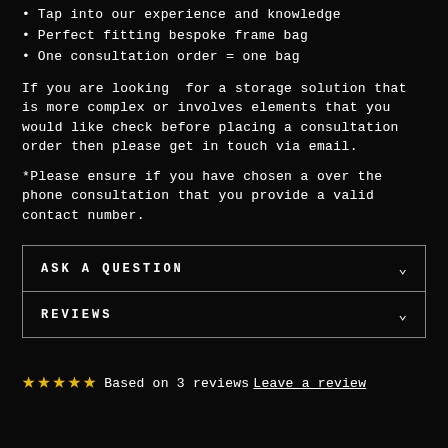Tap into our experience and knowledge
Perfect fitting bespoke frame bag
One consultation order = one bag
If you are looking for a storage solution that is more complex or involves elements that you would like check before placing a consultation order then please get in touch via email.
*Please ensure if you have chosen a over the phone consultation that you provide a valid contact number.
ASK A QUESTION
REVIEWS
Based on 3 reviews Leave a review